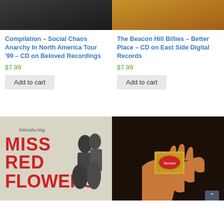[Figure (photo): Partial product image cropped at top, dark background - Compilation album cover]
Compilation – Social Chaos Anarchy In North America Tour '99 – CD on Beloved Recordings
$7.99
Add to cart
[Figure (photo): Partial product image cropped at top - The Beacon Hill Billies album cover]
The Beacon Hill Billies – Better Place – CD on East Side Digital Records
$7.99
Add to cart
[Figure (photo): Miss Red Flowers album cover - Introducing Miss Red Flowers text with couple image]
[Figure (photo): Hand holding a matchbox - dark background product image]